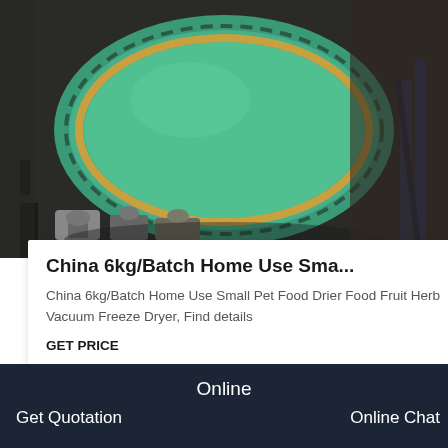[Figure (photo): Industrial green rotary drum machine in a factory setting, with metal supports and mechanical components visible.]
China 6kg/Batch Home Use Sma...
China 6kg/Batch Home Use Small Pet Food Drier Food Fruit Herb Vacuum Freeze Dryer, Find details
GET PRICE
[Figure (photo): Industrial rotary drum equipment viewed from a different angle in a factory, with partial thumbnail image visible.]
Get Quotation   Online   Online Chat